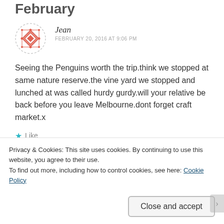February
Jean
FEBRUARY 20, 2016 AT 9:06 PM
Seeing the Penguins worth the trip.think we stopped at same nature reserve.the vine yard we stopped and lunched at was called hurdy gurdy.will your relative be back before you leave Melbourne.dont forget craft market.x
★ Like
Privacy & Cookies: This site uses cookies. By continuing to use this website, you agree to their use.
To find out more, including how to control cookies, see here: Cookie Policy
Close and accept